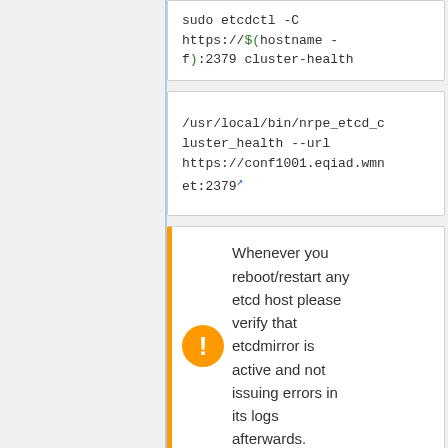sudo etcdctl -C https://$(hostname -f):2379 cluster-health
/usr/local/bin/nrpe_etcd_cluster_health --url https://conf1001.eqiad.wmnet:2379
Whenever you reboot/restart any etcd host please verify that etcdmirror is active and not issuing errors in its logs afterwards.
Whenever you